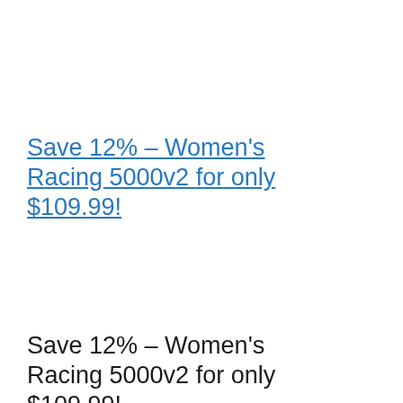Save 12% – Women's Racing 5000v2 for only $109.99!
Save 12% – Women's Racing 5000v2 for only $109.99!.